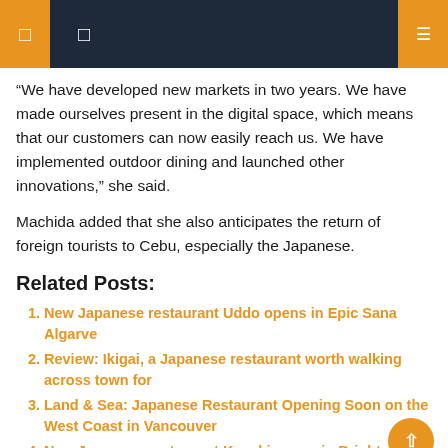Navigation header bar with icons
“We have developed new markets in two years. We have made ourselves present in the digital space, which means that our customers can now easily reach us. We have implemented outdoor dining and launched other innovations,” she said.
Machida added that she also anticipates the return of foreign tourists to Cebu, especially the Japanese.
Related Posts:
New Japanese restaurant Uddo opens in Epic Sana Algarve
Review: Ikigai, a Japanese restaurant worth walking across town for
Land & Sea: Japanese Restaurant Opening Soon on the West Coast in Vancouver
New Japanese restaurant Kusaki opens in Brighton